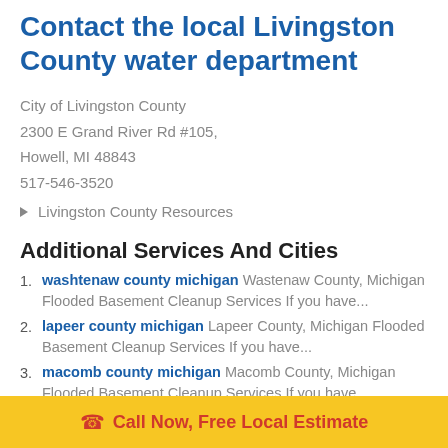Contact the local Livingston County water department
City of Livingston County
2300 E Grand River Rd #105,
Howell, MI 48843
517-546-3520
Livingston County Resources
Additional Services And Cities
washtenaw county michigan Wastenaw County, Michigan Flooded Basement Cleanup Services If you have...
lapeer county michigan Lapeer County, Michigan Flooded Basement Cleanup Services If you have...
macomb county michigan Macomb County, Michigan Flooded Basement Cleanup Services If you have...
livingston county michigan Water Damage Restoration
Call Now, Free Local Estimate